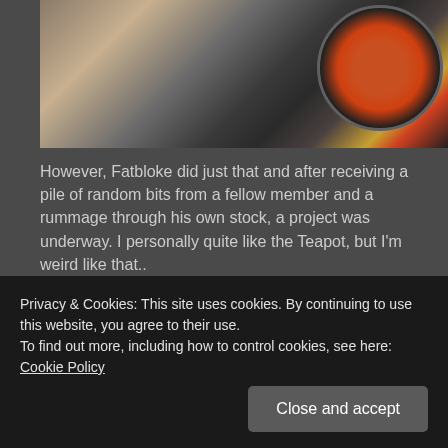[Figure (photo): Partial view of a dark motorcycle from above, with a circular logo/badge visible in the upper right showing an old school Suzuki emblem with orange and red design on dark background]
However, Fatbloke did just that and after receiving a pile of random bits from a fellow member and a rummage through his own stock, a project was underway. I personally quite like the Teapot, but I'm weird like that..
Privacy & Cookies: This site uses cookies. By continuing to use this website, you agree to their use.
To find out more, including how to control cookies, see here: Cookie Policy
Close and accept